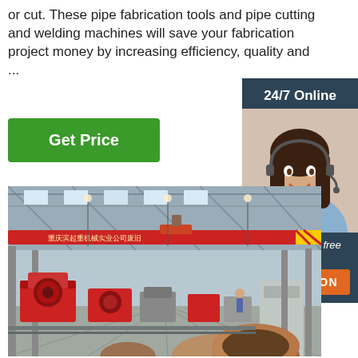or cut. These pipe fabrication tools and pipe cutting and welding machines will save your fabrication project money by increasing efficiency, quality and ...
[Figure (illustration): Green 'Get Price' button]
[Figure (photo): 24/7 Online customer support representative sidebar with 'Click here for free chat!' text and orange QUOTATION button]
[Figure (photo): Interior of a large industrial pipe fabrication factory with red overhead crane, red pipe cutting/welding machines, workers, and large steel pipes on the floor]